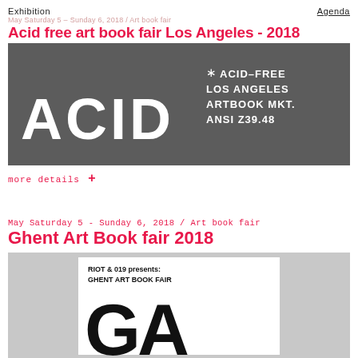Exhibition   Agenda
May Saturday 5 - Sunday 6, 2018 / Art book fair (ghosted in background)
Acid free art book fair Los Angeles - 2018
[Figure (photo): Dark textured banner image with 'ACID' in large white letters on the left, and on the right: '* ACID-FREE / LOS ANGELES / ARTBOOK MKT. / ANSI Z39.48' in white bold text on dark background]
more details +
May Saturday 5 - Sunday 6, 2018 / Art book fair
Ghent Art Book fair 2018
[Figure (photo): Light gray background image with a white rectangle in the center containing 'RIOT & 019 presents: GHENT ART BOOK FAIR' text and large bold stylized letters 'GA' at the bottom]